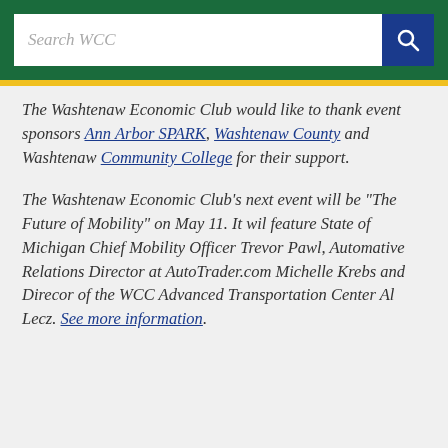Search WCC
The Washtenaw Economic Club would like to thank event sponsors Ann Arbor SPARK, Washtenaw County and Washtenaw Community College for their support.
The Washtenaw Economic Club's next event will be "The Future of Mobility" on May 11. It wil feature State of Michigan Chief Mobility Officer Trevor Pawl, Automative Relations Director at AutoTrader.com Michelle Krebs and Direcor of the WCC Advanced Transportation Center Al Lecz. See more information.